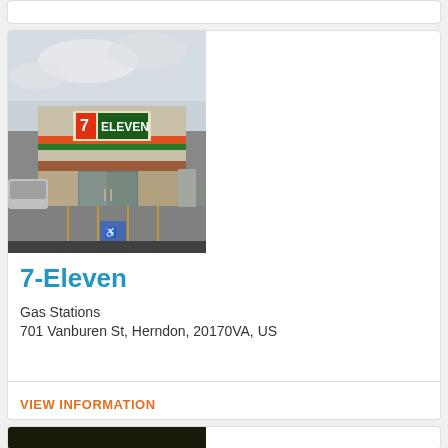[Figure (photo): Exterior photo of a 7-Eleven convenience store with cloudy sky, brick facade, green/red 7-Eleven signage, parking lot with handicap space markings, and a car parked on the left.]
7-Eleven
Gas Stations
701 Vanburen St, Herndon, 20170VA, US
VIEW INFORMATION
[Figure (photo): Partial photo visible at bottom of page, dark image.]